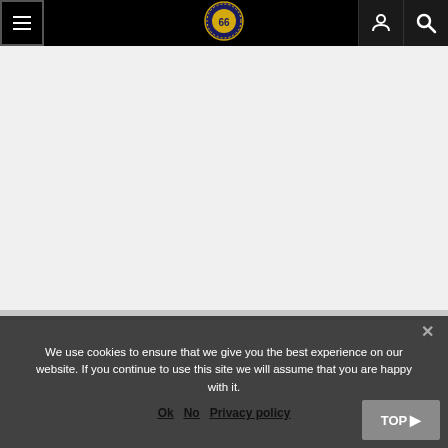[Figure (screenshot): Black navigation bar with hamburger menu icon on left, circular logo in center, user account icon and search icon on right]
We use cookies to ensure that we give you the best experience on our website. If you continue to use this site we will assume that you are happy with it.
Ok   No   Privacy policy